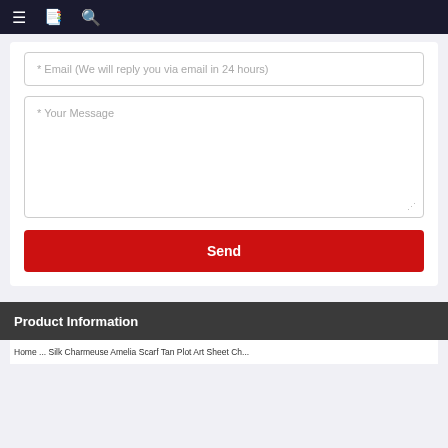≡  📋  🔍
* Email (We will reply you via email in 24 hours)
* Your Message
Send
Product Information
Home ... Silk Charmeuse Amelia Scarf Tan Plot Art Sheet Ch...